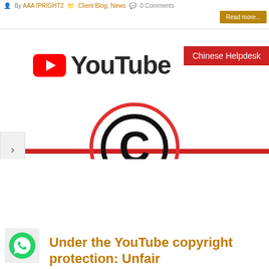By AAA IPRIGHT2  Client Blog, News  0 Comments
Read more...
[Figure (screenshot): YouTube logo with red play button and 'YouTube' text, overlaid with a red 'Chinese Helpdesk' banner, a copyright circle symbol centered on a red horizontal bar, a navigation arrow on the left, a cookie consent popup, and a WhatsApp icon in the bottom left]
Understanding the YouTube copyright protection: Unfair